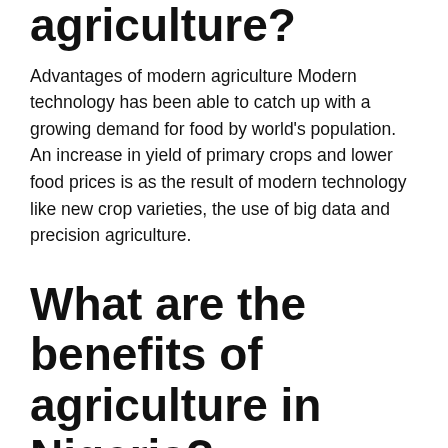agriculture?
Advantages of modern agriculture Modern technology has been able to catch up with a growing demand for food by world's population. An increase in yield of primary crops and lower food prices is as the result of modern technology like new crop varieties, the use of big data and precision agriculture.
What are the benefits of agriculture in Nigeria?
Below are the importance of agriculture in Nigeria:Production and Provision of Food for